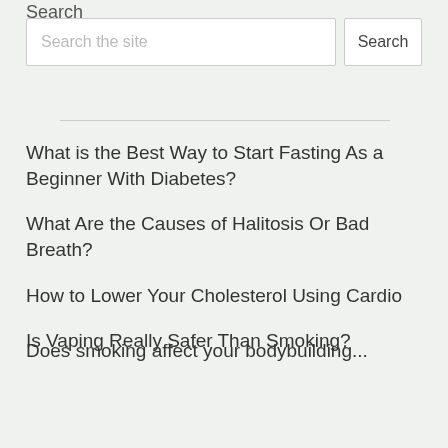Search
Search the site
What is the Best Way to Start Fasting As a Beginner With Diabetes?
What Are the Causes of Halitosis Or Bad Breath?
How to Lower Your Cholesterol Using Cardio
Is Vaping Really Safer Than Smoking?
Does smoking affect your bodybuilding...?